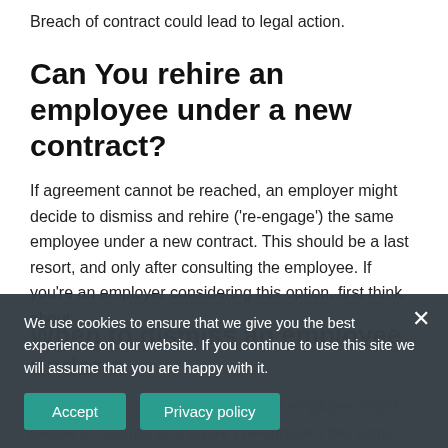Breach of contract could lead to legal action.
Can You rehire an employee under a new contract?
If agreement cannot be reached, an employer might decide to dismiss and rehire ('re-engage') the same employee under a new contract. This should be a last resort, and only after consulting the employee. If you're an employer considering this option, first think about:
When to dismiss an employee under a
We use cookies to ensure that we give you the best experience on our website. If you continue to use this site we will assume that you are happy with it.